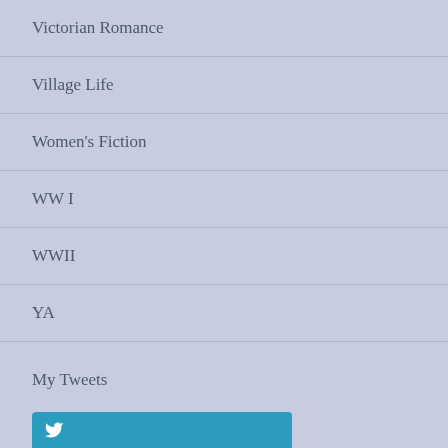Victorian Romance
Village Life
Women's Fiction
WW I
WWII
YA
My Tweets
[Figure (other): Twitter/social media button at bottom of page]